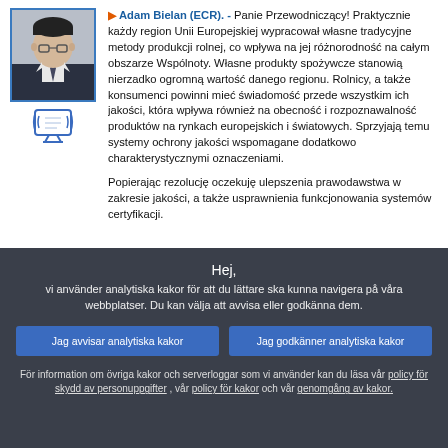▶ Adam Bielan (ECR). - Panie Przewodniczący! Praktycznie każdy region Unii Europejskiej wypracował własne tradycyjne metody produkcji rolnej, co wpływa na jej różnorodność na całym obszarze Wspólnoty. Własne produkty spożywcze stanowią nierzadko ogromną wartość danego regionu. Rolnicy, a także konsumenci powinni mieć świadomość przede wszystkim ich jakości, która wpływa również na obecność i rozpoznawalność produktów na rynkach europejskich i światowych. Sprzyjają temu systemy ochrony jakości wspomagane dodatkowo charakterystycznymi oznaczeniami.

Popierając rezolucję oczekuję ulepszenia prawodawstwa w zakresie jakości, a także usprawnienia funkcjonowania systemów certyfikacji.
[Figure (photo): Portrait photo of Adam Bielan in a suit, with a small TV/monitor icon below]
Hej, vi använder analytiska kakor för att du lättare ska kunna navigera på våra webbplatser. Du kan välja att avvisa eller godkänna dem.
Jag avvisar analytiska kakor
Jag godkänner analytiska kakor
För information om övriga kakor och serverloggar som vi använder kan du läsa vår policy för skydd av personuppgifter , vår policy för kakor och vår genomgång av kakor.